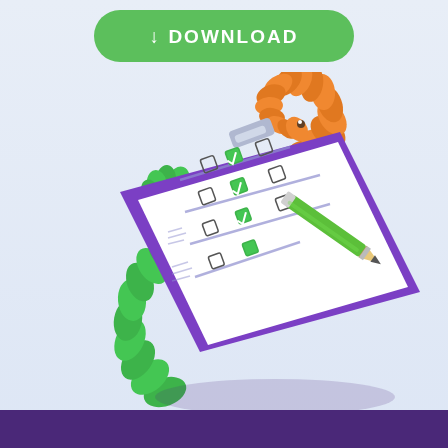[Figure (illustration): Green download button with downward arrow icon and bold white text 'DOWNLOAD' on a green rounded rectangle button at the top of the page]
[Figure (illustration): Isometric illustration of a purple clipboard with a checklist/form, a green pencil writing on it, and two cartoon worms (one green coiled on the left and bottom, one orange coiled on the upper right) on a light blue-grey background]
[Figure (illustration): Dark purple footer bar at the bottom of the page]